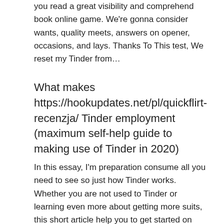you read a great visibility and comprehend book online game. We're gonna consider wants, quality meets, answers on opener, occasions, and lays. Thanks To This test, We reset my Tinder from…
What makes https://hookupdates.net/pl/quickflirt-recenzja/ Tinder employment (maximum self-help guide to making use of Tinder in 2020)
In this essay, I'm preparation consume all you need to see so just how Tinder works. Whether you are not used to Tinder or learning even more about getting more suits, this short article help you to get started on proper training course and save your valuable time. The Straightforward outline to Tinder Application...